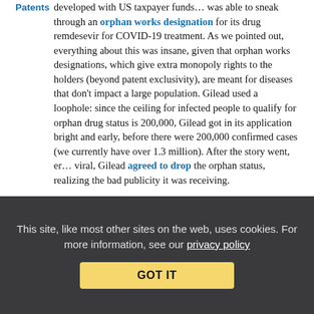Patents developed with US taxpayer funds… was able to sneak through an orphan works designation for its drug remdesevir for COVID-19 treatment. As we pointed out, everything about this was insane, given that orphan works designations, which give extra monopoly rights to the holders (beyond patent exclusivity), are meant for diseases that don't impact a large population. Gilead used a loophole: since the ceiling for infected people to qualify for orphan drug status is 200,000, Gilead got in its application bright and early, before there were 200,000 confirmed cases (we currently have over 1.3 million). After the story went, er… viral, Gilead agreed to drop the orphan status, realizing the bad publicity it was receiving.
After a brief dalliance with chloroquine, remdesivir has suddenly been back in demand as the new hotness of possible COVID-19 treatments. Still, a close reading of the research might give one pause. There have been multiple conflicting studies, and Gilead's own messaging has been a mess.
This site, like most other sites on the web, uses cookies. For more information, see our privacy policy